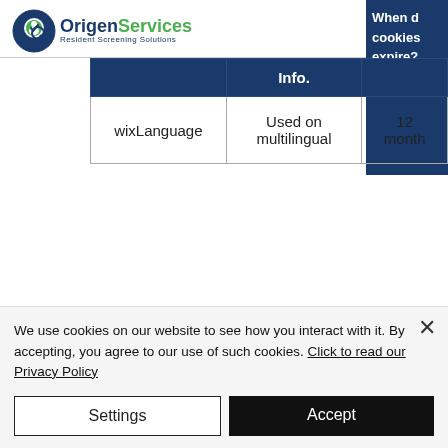Origen Services - Resident Screening Solutions
|  | Info. | When do cookies expire? |
| --- | --- | --- |
| wixLanguage | Used on multilingual | 12 months |
We use cookies on our website to see how you interact with it. By accepting, you agree to our use of such cookies. Click to read our Privacy Policy
Settings
Accept